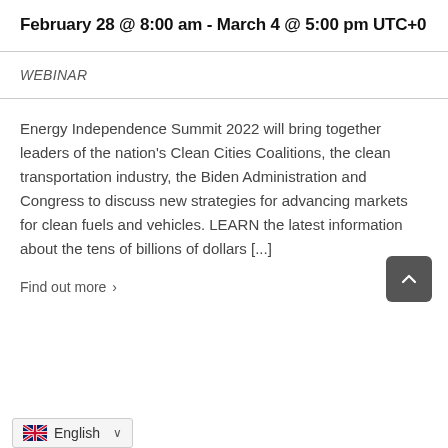February 28 @ 8:00 am - March 4 @ 5:00 pm UTC+0
WEBINAR
Energy Independence Summit 2022 will bring together leaders of the nation's Clean Cities Coalitions, the clean transportation industry, the Biden Administration and Congress to discuss new strategies for advancing markets for clean fuels and vehicles. LEARN the latest information about the tens of billions of dollars [...]
Find out more >